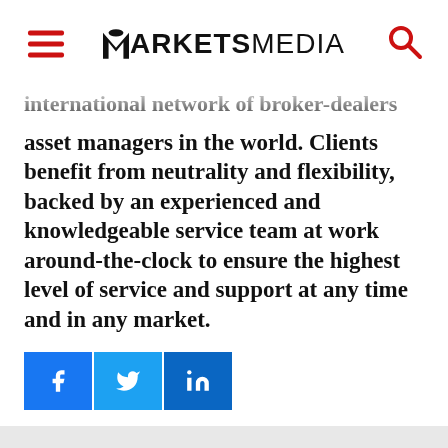MARKETS MEDIA
international network of broker-dealers and asset managers in the world. Clients benefit from neutrality and flexibility, backed by an experienced and knowledgeable service team at work around-the-clock to ensure the highest level of service and support at any time and in any market.
[Figure (other): Social share buttons: Facebook, Twitter, LinkedIn]